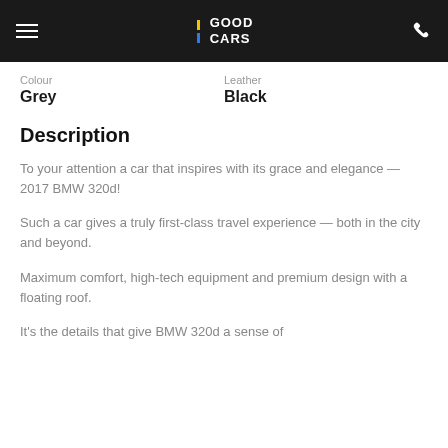GOOD CARS
Colour
Grey
Leather
Black
Description
To your attention a car that inspires with its grace and elegance — 2017 BMW 320d!
Such a car gives a truly first-class travel experience — both in the city and beyond.
Maximum comfort, high-tech equipment and premium design with a floating roof.
It's the details that give BMW 320d a sense of